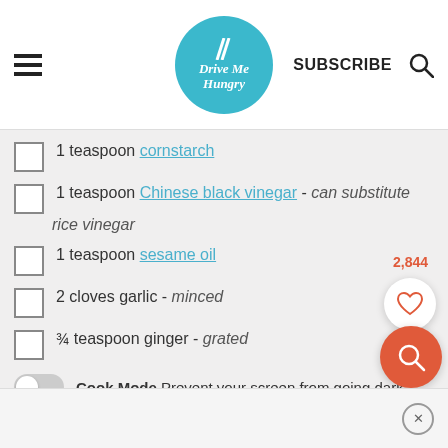Drive Me Hungry — SUBSCRIBE
1 teaspoon cornstarch
1 teaspoon Chinese black vinegar - can substitute rice vinegar
1 teaspoon sesame oil
2 cloves garlic - minced
¾ teaspoon ginger - grated
Cook Mode — Prevent your screen from going dark
2,844